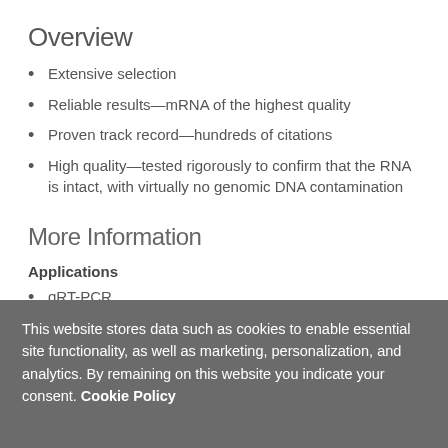Overview
Extensive selection
Reliable results—mRNA of the highest quality
Proven track record—hundreds of citations
High quality—tested rigorously to confirm that the RNA is intact, with virtually no genomic DNA contamination
More Information
Applications
qRT-PCR
RT-PCR
Gene expression profiling
This website stores data such as cookies to enable essential site functionality, as well as marketing, personalization, and analytics. By remaining on this website you indicate your consent. Cookie Policy